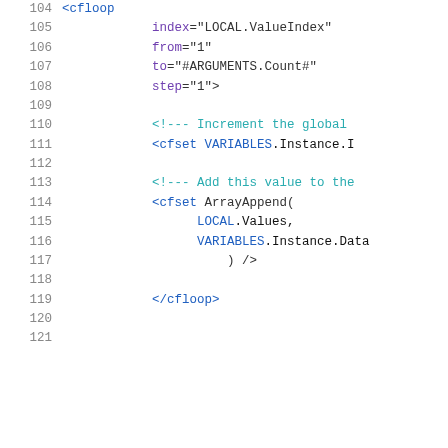[Figure (screenshot): ColdFusion code snippet showing lines 104-121 with cfloop tag, index, from, to, step attributes, cfset statements with VARIABLES.Instance and ArrayAppend calls, and closing cfloop tag]